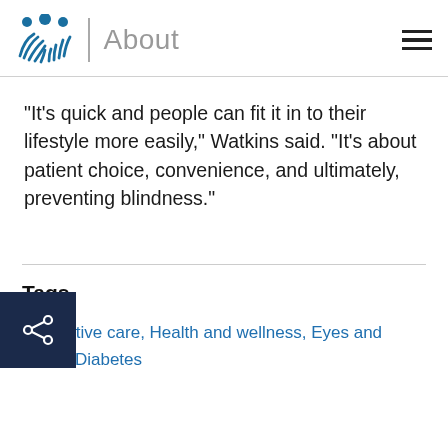About
“It’s quick and people can fit it in to their lifestyle more easily,” Watkins said. “It’s about patient choice, convenience, and ultimately, preventing blindness.”
Tags
Preventive care, Health and wellness, Eyes and vision, Diabetes